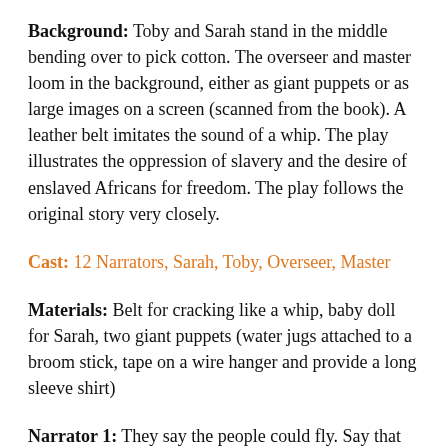Background: Toby and Sarah stand in the middle bending over to pick cotton. The overseer and master loom in the background, either as giant puppets or as large images on a screen (scanned from the book). A leather belt imitates the sound of a whip. The play illustrates the oppression of slavery and the desire of enslaved Africans for freedom. The play follows the original story very closely.
Cast: 12 Narrators, Sarah, Toby, Overseer, Master
Materials: Belt for cracking like a whip, baby doll for Sarah, two giant puppets (water jugs attached to a broom stick, tape on a wire hanger and provide a long sleeve shirt)
Narrator 1: They say the people could fly. Say that along ago in Africa, some of the people knew magic,